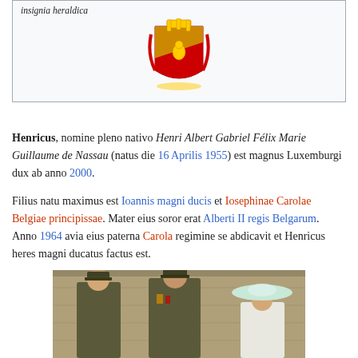insignia heraldica
[Figure (illustration): Coat of arms of Luxembourg (Grand Ducal arms), displayed centered in an infobox with a light gray background.]
Henricus, nomine pleno nativo Henri Albert Gabriel Félix Marie Guillaume de Nassau (natus die 16 Aprilis 1955) est magnus Luxemburgi dux ab anno 2000.
Filius natu maximus est Ioannis magni ducis et Iosephinae Carolae Belgiae principissae. Mater eius soror erat Alberti II regis Belgarum. Anno 1964 avia eius paterna Carola regimine se abdicavit et Henricus heres magni ducatus factus est.
[Figure (photo): Photo of three people in military uniform outdoors, with a woman in a light blue wide-brimmed hat on the right.]